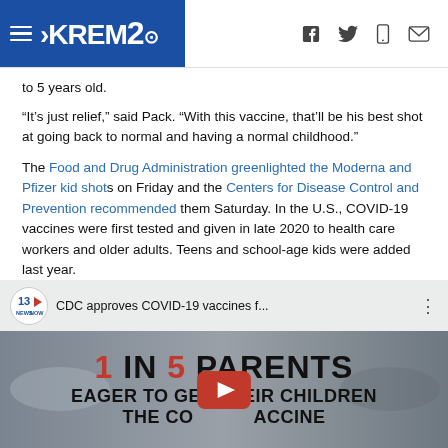KREM2 - navigation header with social icons
to 5 years old.
“It’s just relief,” said Pack. "With this vaccine, that’ll be his best shot at going back to normal and having a normal childhood."
The Food and Drug Administration greenlighted the Moderna and Pfizer kid shots on Friday and the Centers for Disease Control and Prevention recommended them Saturday. In the U.S., COVID-19 vaccines were first tested and given in late 2020 to health care workers and older adults. Teens and school-age kids were added last year.
[Figure (screenshot): YouTube video thumbnail showing '1 IN 5 PARENTS EAGER TO GET THEIR CHILDREN THE COVID VACCINE' with 13NewsNow channel logo and play button overlay. Video title: CDC approves COVID-19 vaccines f...]